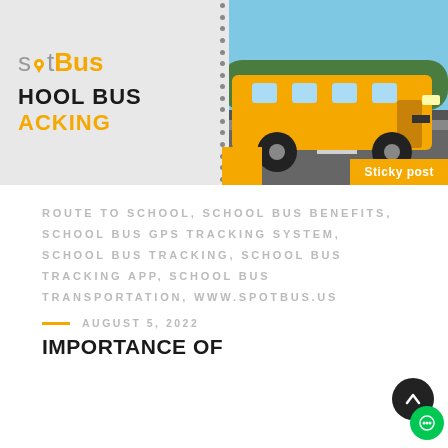[Figure (screenshot): SpotBus school bus tracking app banner with logo showing 'spotBus' text with a pin icon, heading 'SCHOOL BUS TRACKING' in black and yellow, and a yellow school bus photo on the right side. A dotted vertical divider separates the logo area from the bus photo. A yellow accent bar and 'Sticky post' badge appear at the bottom right of the image.]
ROUTE TO SCHOOL, SCHOOL BUS BENEFITS, SCHOOL BUS GPS TRACKING SYSTEM, SCHOOL BUS TRACKING, SCHOOL BUS TRACKING APP, SCHOOL BUS TRANSPORTATION, WWW.SPOTBUS.US
AUGUST 5, 2022
IMPORTANCE OF